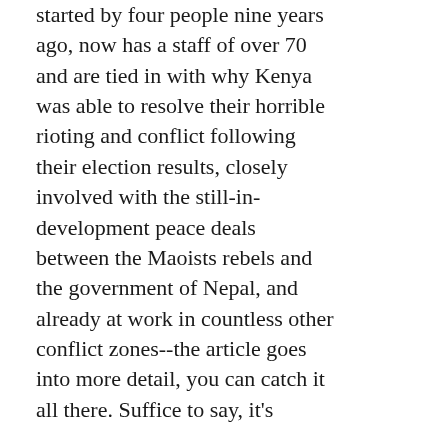started by four people nine years ago, now has a staff of over 70 and are tied in with why Kenya was able to resolve their horrible rioting and conflict following their election results, closely involved with the still-in-development peace deals between the Maoists rebels and the government of Nepal, and already at work in countless other conflict zones--the article goes into more detail, you can catch it all there. Suffice to say, it's